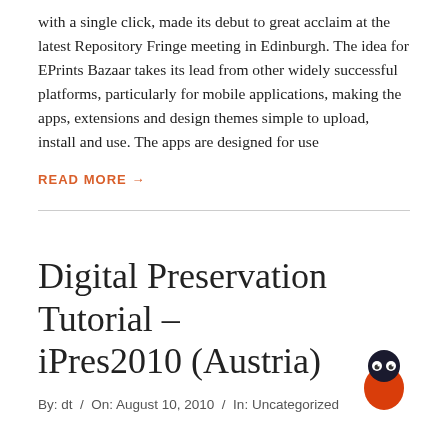with a single click, made its debut to great acclaim at the latest Repository Fringe meeting in Edinburgh. The idea for EPrints Bazaar takes its lead from other widely successful platforms, particularly for mobile applications, making the apps, extensions and design themes simple to upload, install and use. The apps are designed for use
READ MORE →
Digital Preservation Tutorial – iPres2010 (Austria)
By: dt  /  On: August 10, 2010  /  In: Uncategorized